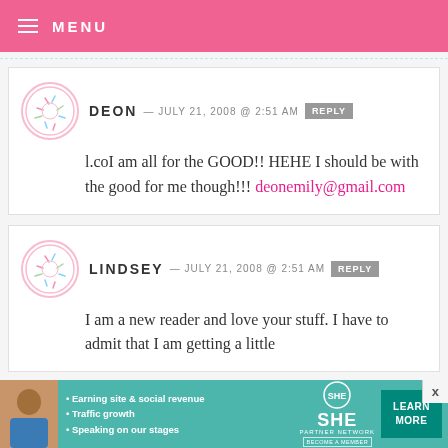MENU
DEON — JULY 21, 2008 @ 2:51 AM   REPLY
l.coI am all for the GOOD!! HEHE I should be with the good for me though!!! deonemily@gmail.com
LINDSEY — JULY 21, 2008 @ 2:51 AM   REPLY
I am a new reader and love your stuff. I have to admit that I am getting a little
[Figure (infographic): SHE Partner Network advertisement banner featuring a woman's photo, bullet points about earning site & social revenue, traffic growth, speaking on stages, SHE logo, and a Learn More button]